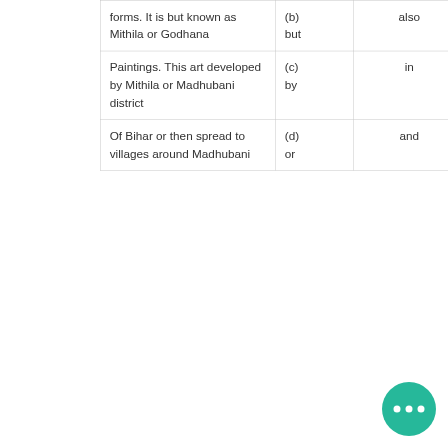| forms. It is but known as Mithila or Godhana | (b) but | also |
| Paintings. This art developed by Mithila or Madhubani district | (c) by | in |
| Of Bihar or then spread to villages around Madhubani | (d) or | and |